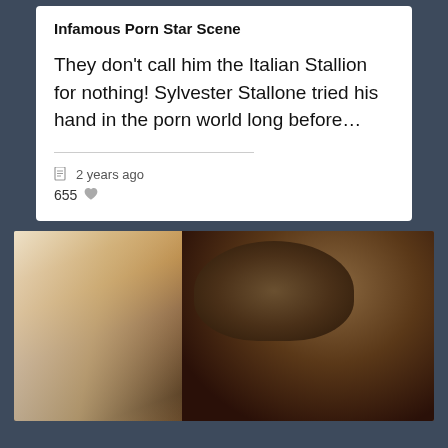Infamous Porn Star Scene
They don't call him the Italian Stallion for nothing!  Sylvester Stallone tried his hand in the porn world long before…
2 years ago
655
[Figure (photo): A man wearing a tweed flat cap lying in bed, close-up selfie style photo with warm tones]